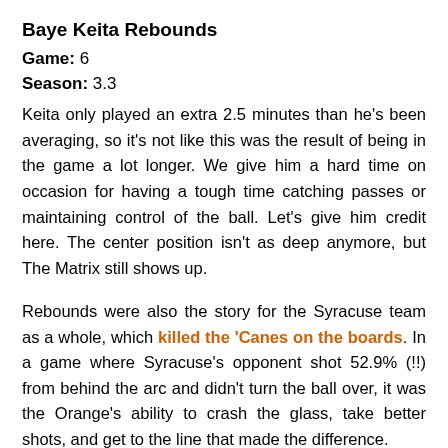Baye Keita Rebounds
Game: 6
Season: 3.3
Keita only played an extra 2.5 minutes than he's been averaging, so it's not like this was the result of being in the game a lot longer. We give him a hard time on occasion for having a tough time catching passes or maintaining control of the ball. Let's give him credit here. The center position isn't as deep anymore, but The Matrix still shows up.
Rebounds were also the story for the Syracuse team as a whole, which killed the 'Canes on the boards. In a game where Syracuse's opponent shot 52.9% (!!) from behind the arc and didn't turn the ball over, it was the Orange's ability to crash the glass, take better shots, and get to the line that made the difference.